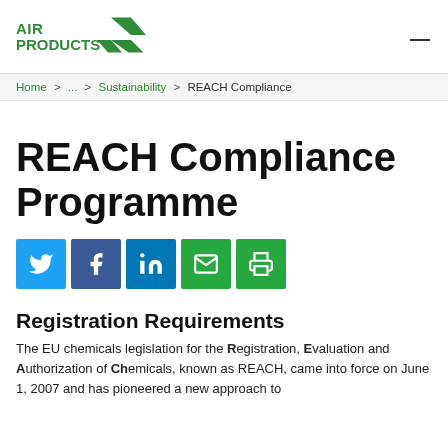Air Products logo and navigation
Home > ... > Sustainability > REACH Compliance
REACH Compliance Programme
[Figure (infographic): Social sharing icons: Twitter (blue), Facebook (dark blue), LinkedIn (blue), Email (green), Print (green)]
Registration Requirements
The EU chemicals legislation for the Registration, Evaluation and Authorization of Chemicals, known as REACH, came into force on June 1, 2007 and has pioneered a new approach to